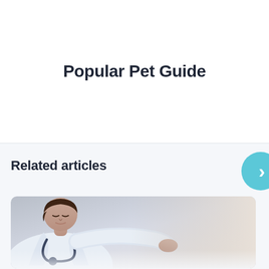Popular Pet Guide
Related articles
[Figure (photo): A veterinarian or doctor in a white coat with a stethoscope, leaning forward, appearing to examine a patient or animal.]